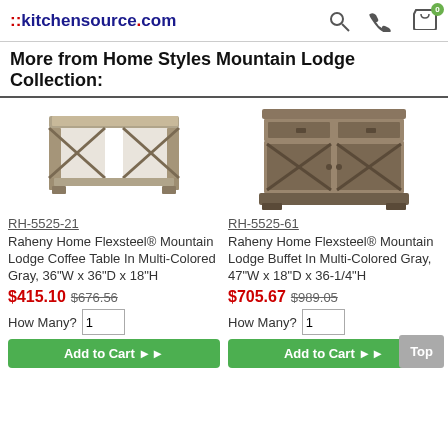::kitchensource.com
More from Home Styles Mountain Lodge Collection:
[Figure (photo): Coffee table with X-pattern sides, two-tier, in multi-colored gray wood finish]
RH-5525-21
Raheny Home Flexsteel® Mountain Lodge Coffee Table In Multi-Colored Gray, 36"W x 36"D x 18"H
$415.10 $676.56
How Many? 1
Add to Cart ►►
[Figure (photo): Buffet/sideboard with two drawers on top, two X-pattern doors below, in multi-colored gray wood finish]
RH-5525-61
Raheny Home Flexsteel® Mountain Lodge Buffet In Multi-Colored Gray, 47"W x 18"D x 36-1/4"H
$705.67 $989.05
How Many? 1
Add to Cart ►►